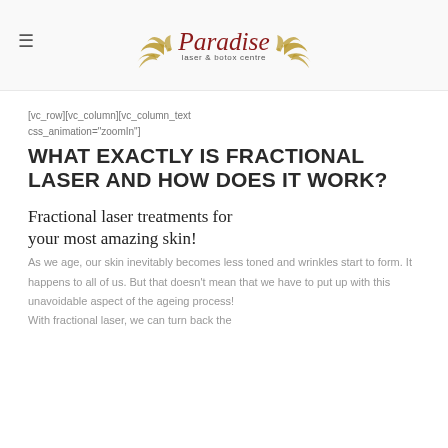Paradise laser & botox centre
[vc_row][vc_column][vc_column_text css_animation="zoomIn"]
WHAT EXACTLY IS FRACTIONAL LASER AND HOW DOES IT WORK?
Fractional laser treatments for your most amazing skin!
As we age, our skin inevitably becomes less toned and wrinkles start to form. It happens to all of us. But that doesn't mean that we have to put up with this unavoidable aspect of the ageing process!
With fractional laser, we can turn back the